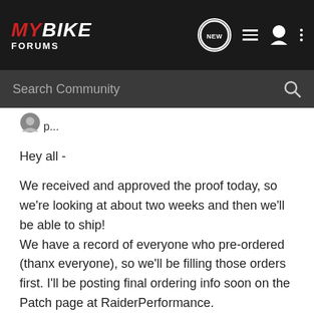MYBIKE FORUMS
Search Community
Hey all -
We received and approved the proof today, so we're looking at about two weeks and then we'll be able to ship!
We have a record of everyone who pre-ordered (thanx everyone), so we'll be filling those orders first. I'll be posting final ordering info soon on the Patch page at RaiderPerformance.
😜epper2:
Pathological Motorcycle Junkie